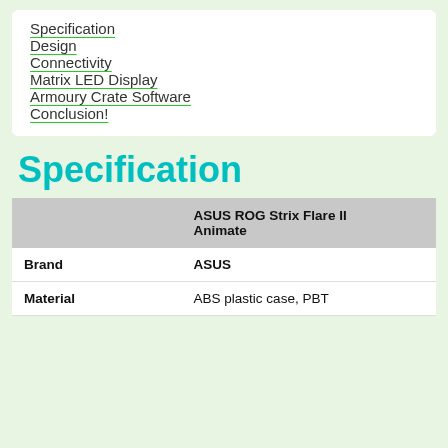Specification
Design
Connectivity
Matrix LED Display
Armoury Crate Software
Conclusion!
Specification
|  | ASUS ROG Strix Flare II Animate |
| --- | --- |
| Brand | ASUS |
| Material | ABS plastic case, PBT |